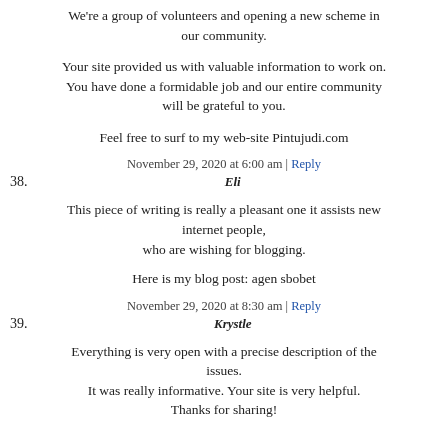We're a group of volunteers and opening a new scheme in our community.
Your site provided us with valuable information to work on. You have done a formidable job and our entire community will be grateful to you.
Feel free to surf to my web-site Pintujudi.com
November 29, 2020 at 6:00 am | Reply
38. Eli
This piece of writing is really a pleasant one it assists new internet people, who are wishing for blogging.
Here is my blog post: agen sbobet
November 29, 2020 at 8:30 am | Reply
39. Krystle
Everything is very open with a precise description of the issues. It was really informative. Your site is very helpful. Thanks for sharing!